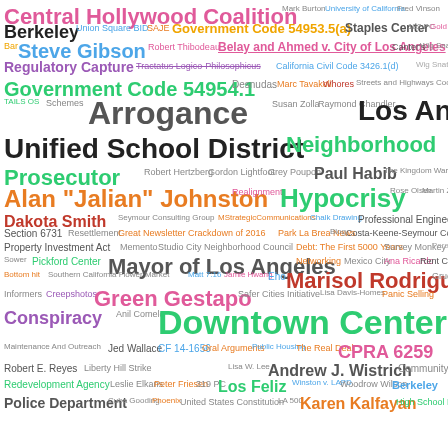[Figure (infographic): Word cloud containing government, legal, and civic terms related to Los Angeles city governance, BID districts, public officials, legal codes, and civic organizations. Prominent terms include 'Downtown Center BID', 'Los Angeles Unified School District', 'Arrogance', 'Hypocrisy', 'Green Gestapo', 'Mayor of Los Angeles', 'Marisol Rodriguez', 'Neighborhood Prosecutor', 'Alan Jalian Johnston', 'CPRA 6259', 'Government Code 54954.1', 'Conspiracy', 'Regulatory Capture', and many others in various colors and font sizes.]